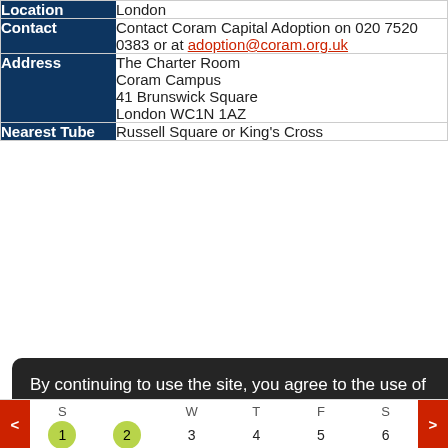| Field | Value |
| --- | --- |
| Location | London |
| Contact | Contact Coram Capital Adoption on 020 7520 0383 or at adoption@coram.org.uk |
| Address | The Charter Room
Coram Campus
41 Brunswick Square
London WC1N 1AZ |
| Nearest Tube | Russell Square or King's Cross |
By continuing to use the site, you agree to the use of cookies. more information
Accept